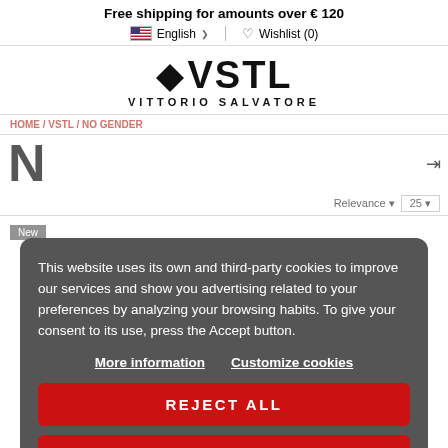Free shipping for amounts over € 120
English  Wishlist (0)
[Figure (logo): VSTL Vittorio Salvatore logo with diamond shape and bold text]
HOME / VSTL / NO GENDER
N
Relevance  25
New
[Figure (photo): Person with curly auburn/red hair, partially visible from below]
This website uses its own and third-party cookies to improve our services and show you advertising related to your preferences by analyzing your browsing habits. To give your consent to its use, press the Accept button.
More information  Customize cookies
REJECT ALL
I ACCEPT